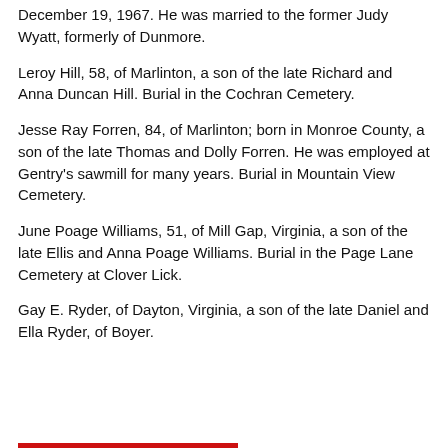December 19, 1967. He was married to the former Judy Wyatt, formerly of Dunmore.
Leroy Hill, 58, of Marlinton, a son of the late Richard and Anna Duncan Hill. Burial in the Cochran Cemetery.
Jesse Ray Forren, 84, of Marlinton; born in Monroe County, a son of the late Thomas and Dolly Forren. He was employed at Gentry's sawmill for many years. Burial in Mountain View Cemetery.
June Poage Williams, 51, of Mill Gap, Virginia, a son of the late Ellis and Anna Poage Williams. Burial in the Page Lane Cemetery at Clover Lick.
Gay E. Ryder, of Dayton, Virginia, a son of the late Daniel and Ella Ryder, of Boyer.